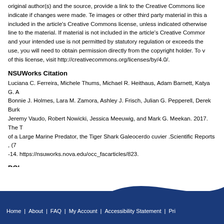original author(s) and the source, provide a link to the Creative Commons lice... indicate if changes were made. Te images or other third party material in this a... included in the article's Creative Commons license, unless indicated otherwise... line to the material. If material is not included in the article's Creative Commor... and your intended use is not permitted by statutory regulation or exceeds the ... use, you will need to obtain permission directly from the copyright holder. To v... of this license, visit http://creativecommons.org/licenses/by/4.0/.
NSUWorks Citation
Luciana C. Ferreira, Michele Thums, Michael R. Heithaus, Adam Barnett, Katya G. A... Bonnie J. Holmes, Lara M. Zamora, Ashley J. Frisch, Julian G. Pepperell, Derek Burk... Jeremy Vaudo, Robert Nowicki, Jessica Meeuwig, and Mark G. Meekan. 2017. The T... of a Large Marine Predator, the Tiger Shark Galeocerdo cuvier .Scientific Reports , (7... -14. https://nsuworks.nova.edu/occ_facarticles/823.
DOI
10.1038/s41598-017-07751-2
Home | About | FAQ | My Account | Accessibility Statement | Pri...